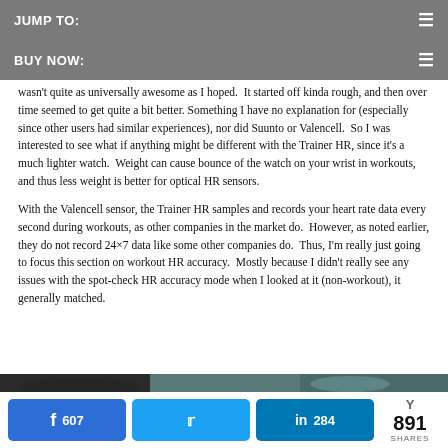JUMP TO:
BUY NOW:
wasn't quite as universally awesome as I hoped.  It started off kinda rough, and then over time seemed to get quite a bit better.  Something I have no explanation for (especially since other users had similar experiences), nor did Suunto or Valencell.  So I was interested to see what if anything might be different with the Trainer HR, since it's a much lighter watch.  Weight can cause bounce of the watch on your wrist in workouts, and thus less weight is better for optical HR sensors.
With the Valencell sensor, the Trainer HR samples and records your heart rate data every second during workouts, as other companies in the market do.  However, as noted earlier, they do not record 24×7 data like some other companies do.  Thus, I'm really just going to focus this section on workout HR accuracy.  Mostly because I didn't really see any issues with the spot-check HR accuracy mode when I looked at it (non-workout), it generally matched.
[Figure (photo): Partial view of a photo, likely showing a wrist or watch being worn]
607  284  891 SHARES